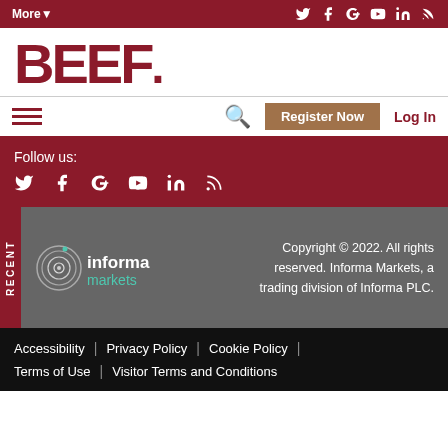More▾  [social icons: Twitter, Facebook, Google+, YouTube, LinkedIn, RSS]
[Figure (logo): BEEF magazine logo in bold dark red text]
[hamburger menu]  [search icon]  Register Now  Log In
Follow us: [Twitter] [Facebook] [Google+] [YouTube] [LinkedIn] [RSS]
[Figure (logo): Informa Markets logo in white on gray background]
Copyright © 2022. All rights reserved. Informa Markets, a trading division of Informa PLC.
Accessibility | Privacy Policy | Cookie Policy | Terms of Use | Visitor Terms and Conditions